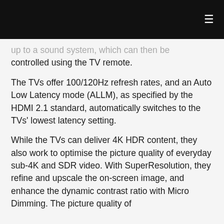≡
up to a sound system, which can then be controlled using the TV remote.
The TVs offer 100/120Hz refresh rates, and an Auto Low Latency mode (ALLM), as specified by the HDMI 2.1 standard, automatically switches to the TVs' lowest latency setting.
While the TVs can deliver 4K HDR content, they also work to optimise the picture quality of everyday sub-4K and SDR video. With SuperResolution, they refine and upscale the on-screen image, and enhance the dynamic contrast ratio with Micro Dimming. The picture quality of